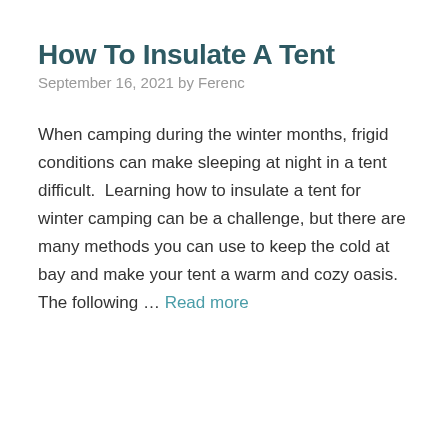How To Insulate A Tent
September 16, 2021 by Ferenc
When camping during the winter months, frigid conditions can make sleeping at night in a tent difficult.  Learning how to insulate a tent for winter camping can be a challenge, but there are many methods you can use to keep the cold at bay and make your tent a warm and cozy oasis.  The following … Read more